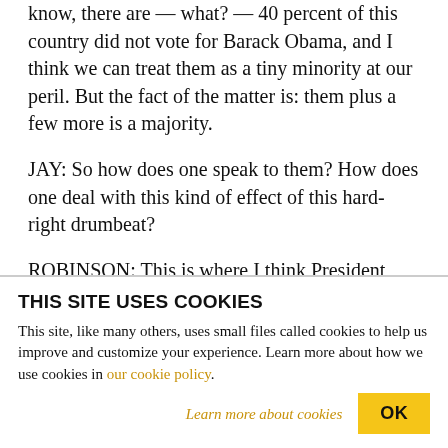know, there are — what? — 40 percent of this country did not vote for Barack Obama, and I think we can treat them as a tiny minority at our peril. But the fact of the matter is: them plus a few more is a majority.
JAY: So how does one speak to them? How does one deal with this kind of effect of this hard-right drumbeat?
ROBINSON: This is where I think President Obama is at his best, which is slow and steady. I've hardly
THIS SITE USES COOKIES
This site, like many others, uses small files called cookies to help us improve and customize your experience. Learn more about how we use cookies in our cookie policy.
Learn more about cookies
OK